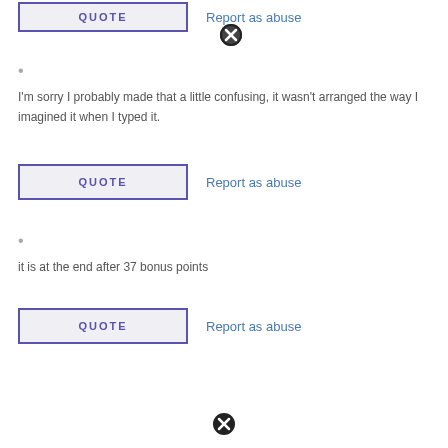[Figure (screenshot): QUOTE button with purple border and Report as abuse link with X close icon at top]
•
I'm sorry I probably made that a little confusing, it wasn't arranged the way I imagined it when I typed it.
[Figure (screenshot): QUOTE button with purple border and Report as abuse link]
•
it is at the end after 37 bonus points
[Figure (screenshot): QUOTE button with purple border and Report as abuse link]
[Figure (screenshot): X close icon at bottom]